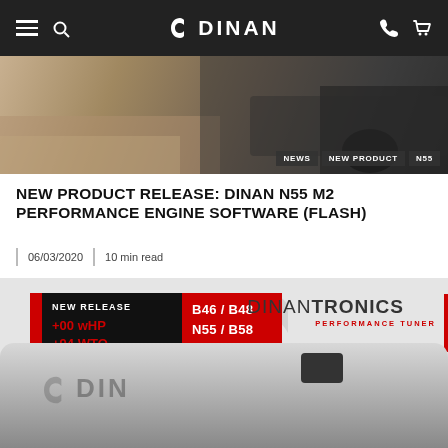DINAN — navigation bar with hamburger menu, search, logo, phone and cart icons
[Figure (photo): Hero banner showing a BMW driving on a dusty road, with tags NEWS, NEW PRODUCT, N55 in bottom right corner]
NEW PRODUCT RELEASE: DINAN N55 M2 PERFORMANCE ENGINE SOFTWARE (FLASH)
06/03/2020  |  10 min read
[Figure (photo): Product promotion image showing NEW RELEASE badge with +00 wHP +94 WTQ for Select Applications, engine codes B46/B48 N55/B58 N63/S63 on red background, DINANTRONICS PERFORMANCE TUNER logo, and a Dinantronics device (white/grey hardware dongle) in foreground]